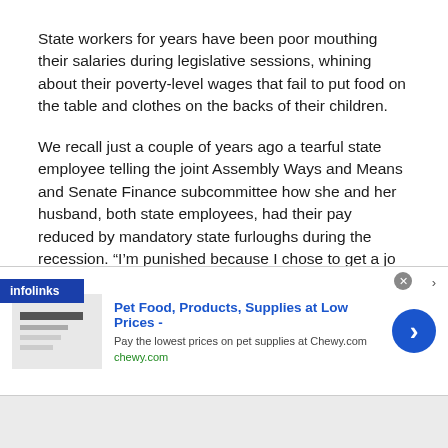State workers for years have been poor mouthing their salaries during legislative sessions, whining about their poverty-level wages that fail to put food on the table and clothes on the backs of their children.
We recall just a couple of years ago a tearful state employee telling the joint Assembly Ways and Means and Senate Finance subcommittee how she and her husband, both state employees, had their pay reduced by mandatory state furloughs during the recession. “I’m punished because I chose to get [a jo]b with the state, 30 years ago, believing that
[Figure (other): Infolinks advertisement bar overlaid at bottom of text, and a Pet Food/Chewy.com display ad banner below it.]